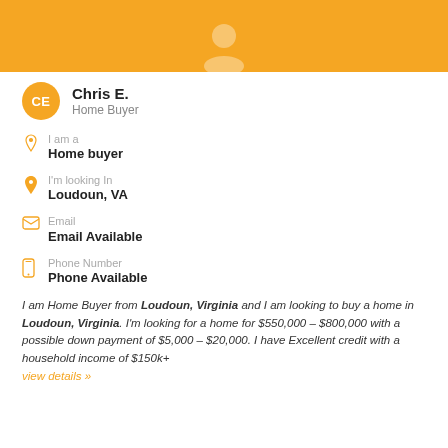[Figure (illustration): Orange banner with white person silhouette avatar icon]
CE - Chris E. - Home Buyer
I am a Home buyer
I'm looking In Loudoun, VA
Email - Email Available
Phone Number - Phone Available
I am Home Buyer from Loudoun, Virginia and I am looking to buy a home in Loudoun, Virginia. I'm looking for a home for $550,000 - $800,000 with a possible down payment of $5,000 - $20,000. I have Excellent credit with a household income of $150k+ view details »